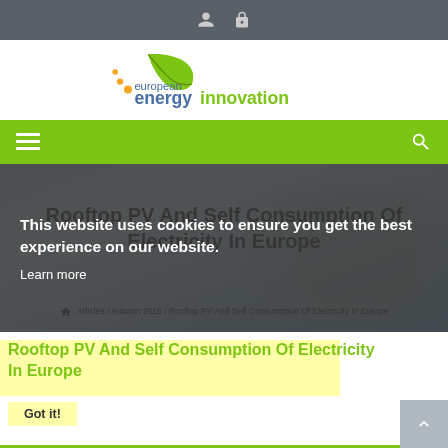Top navigation bar with user and lock icons
[Figure (logo): European Energy Innovation logo with green leaf and yellow/orange dots, text reads 'european energy innovation']
[Figure (screenshot): Green navigation bar with hamburger menu icon on left and search icon on right]
Rooftop PV And Self Consumption Of Electricity In Europe
Articles / Autumn 2018 / Rooftop PV And Self Consumption Of Electricity In Europe
This website uses cookies to ensure you get the best experience on our website.
Learn more
Rooftop PV And Self Consumption Of Electricity In Europe